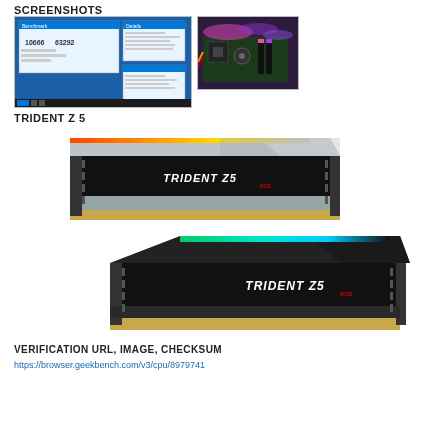SCREENSHOTS
[Figure (screenshot): Screenshot of benchmark software on Windows desktop showing memory values 10666 and 63292]
[Figure (photo): Photo of computer motherboard with RGB lighting installed in a PC case]
TRIDENT Z 5
[Figure (photo): Product image of G.Skill Trident Z5 RGB DDR5 RAM module in silver/white colorway with orange/yellow RGB lighting strip]
[Figure (photo): Product image of G.Skill Trident Z5 RGB DDR5 RAM module in black colorway with green/teal RGB lighting strip]
VERIFICATION URL, IMAGE, CHECKSUM
https://browser.geekbench.com/v3/cpu/8979741